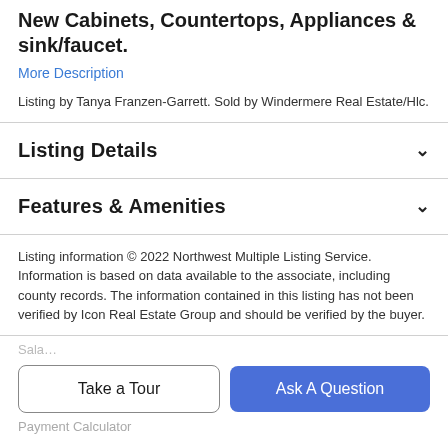New Cabinets, Countertops, Appliances & sink/faucet.
More Description
Listing by Tanya Franzen-Garrett. Sold by Windermere Real Estate/Hlc.
Listing Details
Features & Amenities
Listing information © 2022 Northwest Multiple Listing Service. Information is based on data available to the associate, including county records. The information contained in this listing has not been verified by Icon Real Estate Group and should be verified by the buyer.
Take a Tour
Ask A Question